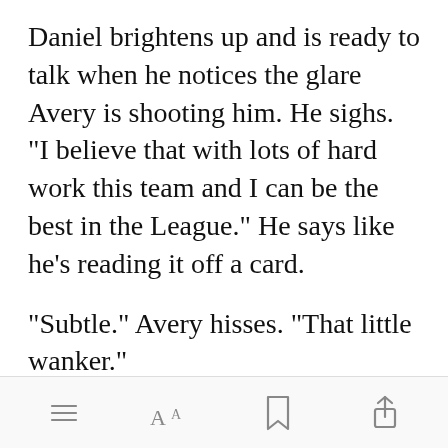Daniel brightens up and is ready to talk when he notices the glare Avery is shooting him. He sighs. "I believe that with lots of hard work this team and I can be the best in the League." He says like he's reading it off a card.
"Subtle." Avery hisses. "That little wanker."
[Figure (screenshot): Green 'Open in app' button]
Navigation bar with menu, font, bookmark, and share icons